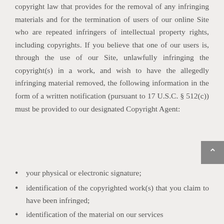copyright law that provides for the removal of any infringing materials and for the termination of users of our online Site who are repeated infringers of intellectual property rights, including copyrights. If you believe that one of our users is, through the use of our Site, unlawfully infringing the copyright(s) in a work, and wish to have the allegedly infringing material removed, the following information in the form of a written notification (pursuant to 17 U.S.C. § 512(c)) must be provided to our designated Copyright Agent:
your physical or electronic signature;
identification of the copyrighted work(s) that you claim to have been infringed;
identification of the material on our services